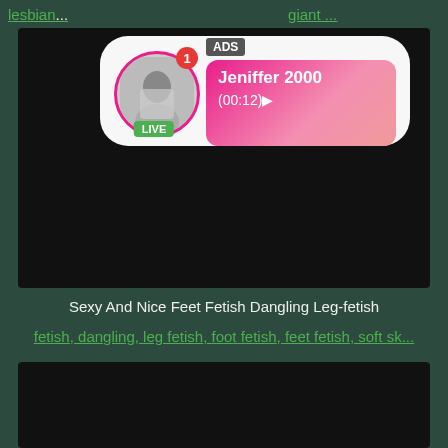lesbian ... giant ...
[Figure (screenshot): Video thumbnail showing black/dark video player with HD badge and 5 min duration, with an ad overlay showing a live profile picture of Jeniffer 2000 (00:12)]
Sexy And Nice Feet Fetish Dangling Leg-fetish
fetish, dangling, leg fetish, foot fetish, feet fetish, soft sk...
[Figure (screenshot): Second video thumbnail showing dark/black video player]